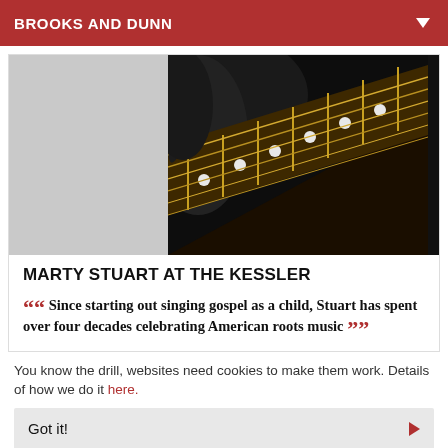BROOKS AND DUNN
[Figure (photo): Left half: gray placeholder rectangle. Right half: close-up photo of a dark electric guitar fretboard/neck with gold frets and white dot inlays against a dark background.]
MARTY STUART AT THE KESSLER
““ Since starting out singing gospel as a child, Stuart has spent over four decades celebrating American roots music ””
You know the drill, websites need cookies to make them work. Details of how we do it here.
Got it!